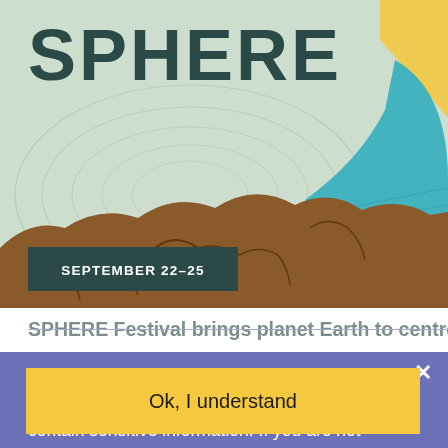[Figure (screenshot): SPHERE Festival website screenshot showing the festival logo text 'SPHERE' in dark teal on a light topographic map background, with colorful abstract shapes (yellow and teal arcs) in the top right, a brown cracked earth terrain element in the lower center, and a dark badge reading 'SEPTEMBER 22–25' in the lower left. Partially visible text 'SPHERE Festival brings planet Earth to centre stage!' is shown behind the cookie consent overlay.]
We place cookies on your device to improve your browsing experience. They're safe and don't contain sensitive information. If you are not comfortable with us using this information, please adjust your browser settings before continuing your visit. Learn more about how the NAC protects your privacy.
Ok, I understand